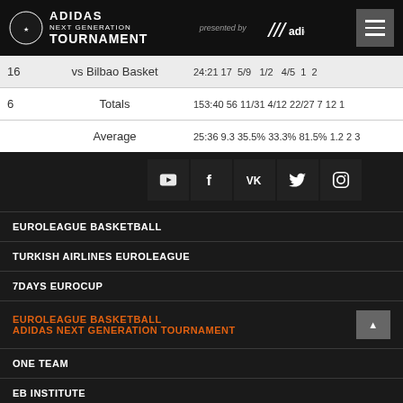ADIDAS NEXT GENERATION TOURNAMENT presented by adidas
| # | Opponent | Min | Pts | 2P | 3P | FT | OR | DR |
| --- | --- | --- | --- | --- | --- | --- | --- | --- |
| 16 | vs Bilbao Basket | 24:21 | 17 | 5/9 | 1/2 | 4/5 | 1 | 2 |
| 6 | Totals | 153:40 | 56 | 11/31 | 4/12 | 22/27 | 7 | 12 1 |
|  | Average | 25:36 | 9.3 | 35.5% | 33.3% | 81.5% | 1.2 | 2 3 |
EUROLEAGUE BASKETBALL
TURKISH AIRLINES EUROLEAGUE
7DAYS EUROCUP
EUROLEAGUE BASKETBALL ADIDAS NEXT GENERATION TOURNAMENT
ONE TEAM
EB INSTITUTE